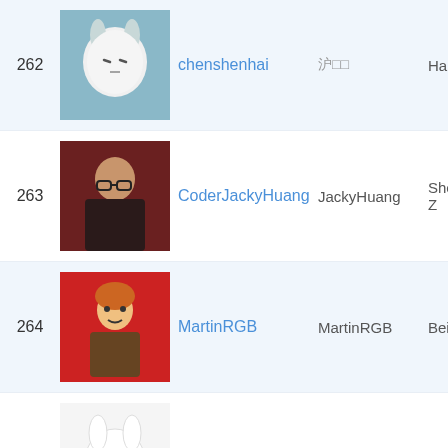| # | Avatar | Username | Display Name | Location |
| --- | --- | --- | --- | --- |
| 262 | [avatar] | chenshenhai | 沪□□ | Hangzh… |
| 263 | [avatar] | CoderJackyHuang | JackyHuang | Shen Z… |
| 264 | [avatar] | MartinRGB | MartinRGB | Beijing,… |
| 265 | [avatar] | xiaojue | xiaojue | Beijing |
| 266 | [avatar] | Nealyang | Nealyang | HangZh… |
| 267 | [avatar] | 233boy |  | China |